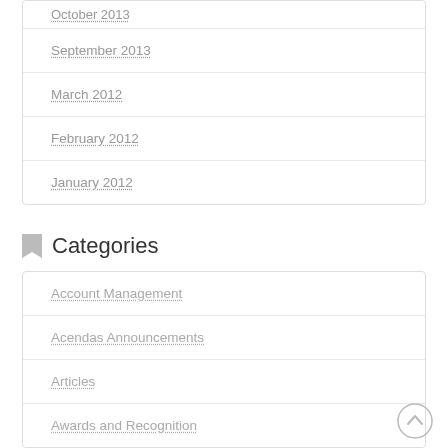October 2013
September 2013
March 2012
February 2012
January 2012
Categories
Account Management
Acendas Announcements
Articles
Awards and Recognition